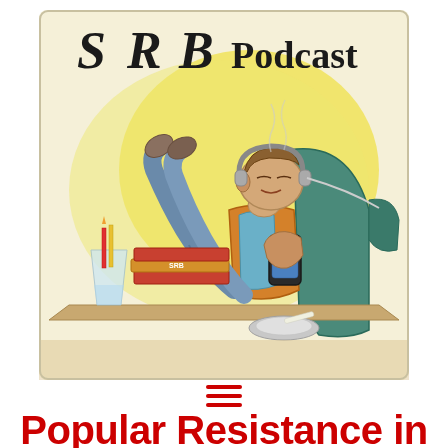[Figure (illustration): Illustrated podcast cover art for 'SRB Podcast' showing a relaxed person lying back with feet up, wearing headphones, holding a phone, with stacked books labeled 'SRB', a glass with pencils/pens, and an ashtray, all on a yellow-tinted watercolor background with bold hand-lettered text 'SRB Podcast' at the top.]
[Figure (other): Hamburger menu icon made of three horizontal red lines]
Popular Resistance in